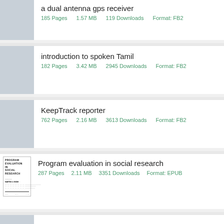a dual antenna gps receiver
185 Pages    1.57 MB    119 Downloads    Format: FB2
introduction to spoken Tamil
182 Pages    3.42 MB    2945 Downloads    Format: FB2
KeepTrack reporter
762 Pages    2.16 MB    3613 Downloads    Format: FB2
Program evaluation in social research
287 Pages    2.11 MB    3351 Downloads    Format: EPUB